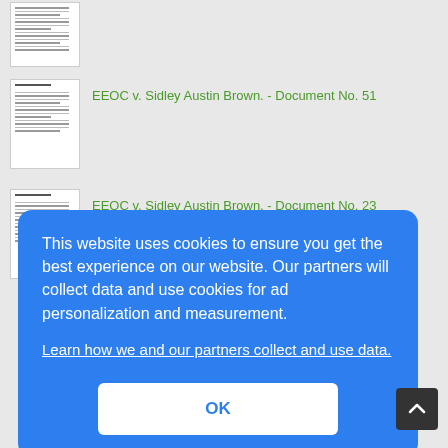[Figure (screenshot): Thumbnail of a legal document page (partially visible at top)]
[Figure (screenshot): Thumbnail of EEOC v. Sidley Austin Brown Document No. 51]
EEOC v. Sidley Austin Brown. - Document No. 51
[Figure (screenshot): Thumbnail of EEOC v. Sidley Austin Brown Document No. 23]
EEOC v. Sidley Austin Brown. - Document No. 23
This website uses cookies to ensure you get the best experience on our website. Our partners will collect data and use cookies for ad personalization and measurement.
Learn how we and our partners collect and use data.
OK
Appearance WTTW - Sidley & Austin